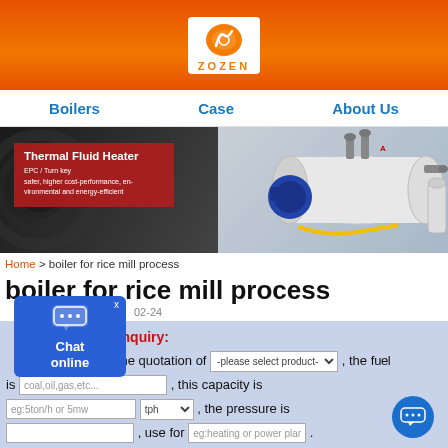[Figure (logo): ZOZEN boiler company logo on orange header bar]
Boilers   Case   About Us
[Figure (photo): Banner image showing a Thermal Fluid Heater boiler product with red overlay text box on dark background]
Home > boiler for rice mill process
boiler for rice mill process
02-24
Quick inquiry: I need the quotation of -please select product-, the fuel is coal,oil,gas,etc... , this capacity is eg:5ton/h or 5mw tph , the pressure is , use for eg:heating or power plant .